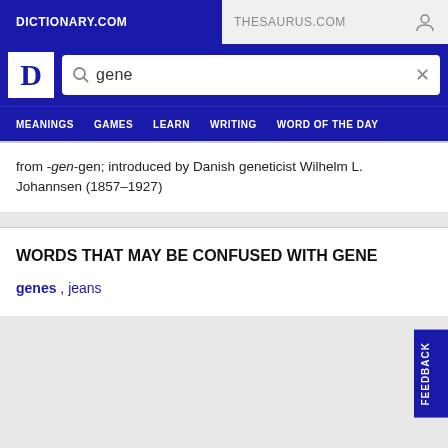DICTIONARY.COM | THESAURUS.COM
gene (search query)
MEANINGS | GAMES | LEARN | WRITING | WORD OF THE DAY
from -gen-gen; introduced by Danish geneticist Wilhelm L. Johannsen (1857–1927)
WORDS THAT MAY BE CONFUSED WITH GENE
genes , jeans